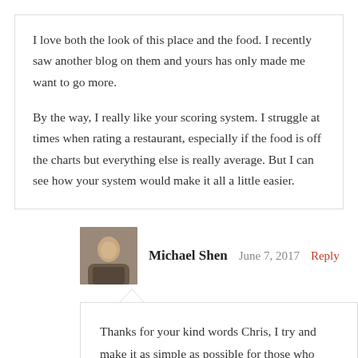I love both the look of this place and the food. I recently saw another blog on them and yours has only made me want to go more.

By the way, I really like your scoring system. I struggle at times when rating a restaurant, especially if the food is off the charts but everything else is really average. But I can see how your system would make it all a little easier.
Michael Shen  June 7, 2017  Reply
Thanks for your kind words Chris, I try and make it as simple as possible for those who might not have time to read the text. Glad to know it helped!